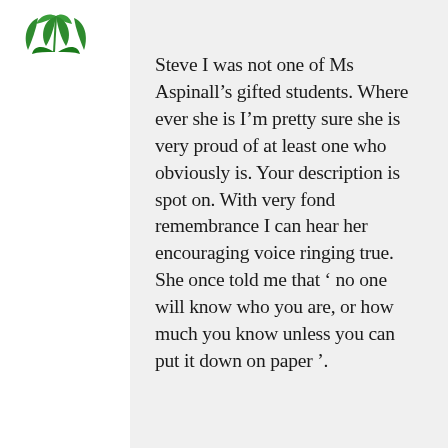[Figure (logo): Green stylized leaf/plant logo mark]
Steve I was not one of Ms Aspinall’s gifted students. Where ever she is I’m pretty sure she is very proud of at least one who obviously is. Your description is spot on. With very fond remembrance I can hear her encouraging voice ringing true. She once told me that ‘ no one will know who you are, or how much you know unless you can put it down on paper ’.